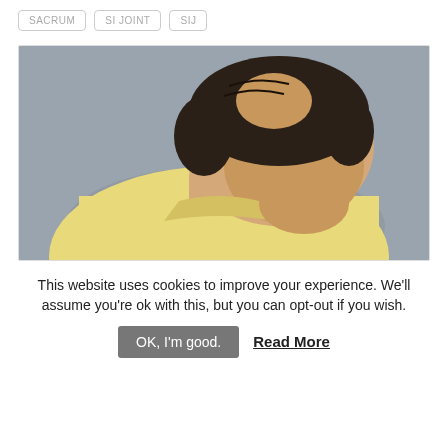SACRUM
SI JOINT
SIJ
[Figure (photo): A middle-aged man with thinning/balding hair wearing a light yellow polo shirt, leaning forward with his head down, viewed from slightly above. Gray background.]
This website uses cookies to improve your experience. We'll assume you're ok with this, but you can opt-out if you wish.
OK, I'm good.  Read More